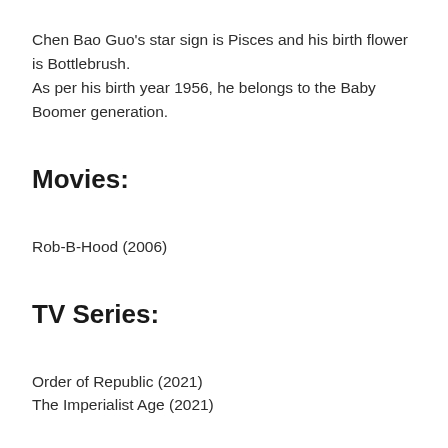Chen Bao Guo's star sign is Pisces and his birth flower is Bottlebrush. As per his birth year 1956, he belongs to the Baby Boomer generation.
Movies:
Rob-B-Hood (2006)
TV Series:
Order of Republic (2021)
The Imperialist Age (2021)